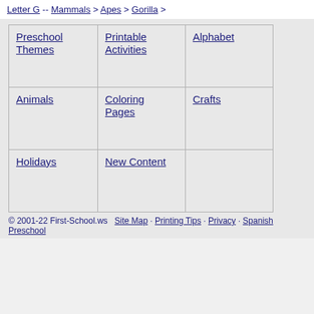Letter G -- Mammals > Apes > Gorilla >
| Preschool Themes | Printable Activities | Alphabet |
| Animals | Coloring Pages | Crafts |
| Holidays | New Content |  |
© 2001-22 First-School.ws · Site Map · Printing Tips · Privacy · Spanish Preschool